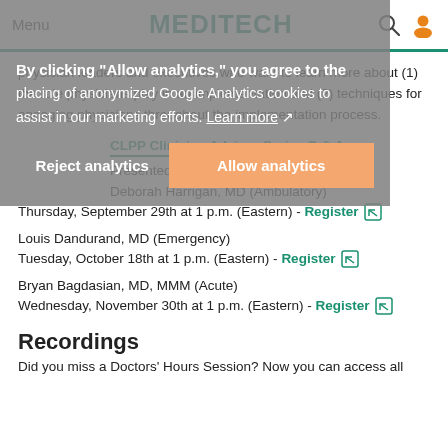Menu  MEDITECH
physician leaders and executives who want to learn more about (1) the role physicians play in an implementation and (2) techniques for engaging physicians throughout the implementation process.
CLPP Clinician Advisor Series Q & A
Presented by:
Deborah Harrigan, MD (Ambulatory)
Thursday, September 29th at 1 p.m. (Eastern) - Register
Louis Dandurand, MD (Emergency)
Tuesday, October 18th at 1 p.m. (Eastern) - Register
Bryan Bagdasian, MD, MMM (Acute)
Wednesday, November 30th at 1 p.m. (Eastern) - Register
Recordings
Did you miss a Doctors' Hours Session? Now you can access all